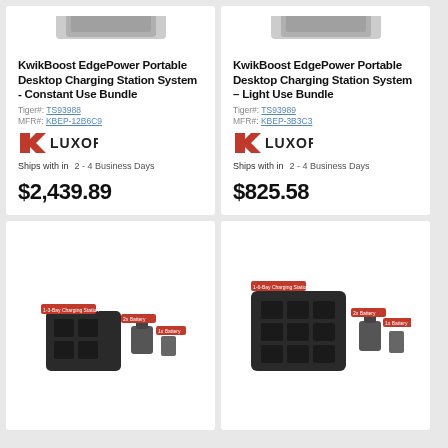[Figure (photo): KwikBoost EdgePower Portable Desktop Charging Station System - Constant Use Bundle product image (partial, top cropped)]
KwikBoost EdgePower Portable Desktop Charging Station System - Constant Use Bundle
Tiger#: TS93988
MFR#: KBEP-12B6C9
[Figure (logo): Luxor brand logo in red and black]
Ships with in   2 - 4 Business Days
$2,439.89
[Figure (photo): KwikBoost EdgePower Portable Desktop Charging Station System - Light Use Bundle product image (partial, top cropped)]
KwikBoost EdgePower Portable Desktop Charging Station System – Light Use Bundle
Tiger#: TS93989
MFR#: KBEP-3B3C3
[Figure (logo): Luxor brand logo in red and black]
Ships with in   2 - 4 Business Days
$825.58
[Figure (photo): Product photo of a small black KwikBoost EdgePower charging station with accessories and labels]
[Figure (photo): Product photo of a larger black KwikBoost EdgePower charging station with 6 slots, accessories and labels]